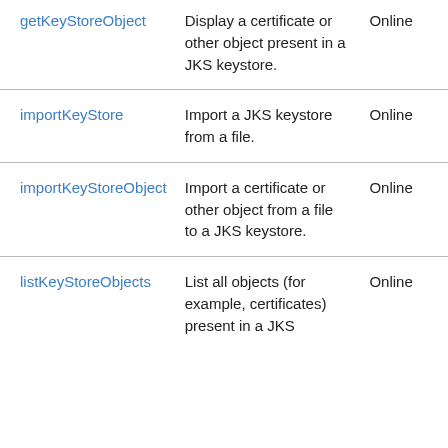| getKeyStoreObject | Display a certificate or other object present in a JKS keystore. | Online |
| importKeyStore | Import a JKS keystore from a file. | Online |
| importKeyStoreObject | Import a certificate or other object from a file to a JKS keystore. | Online |
| listKeyStoreObjects | List all objects (for example, certificates) present in a JKS | Online |